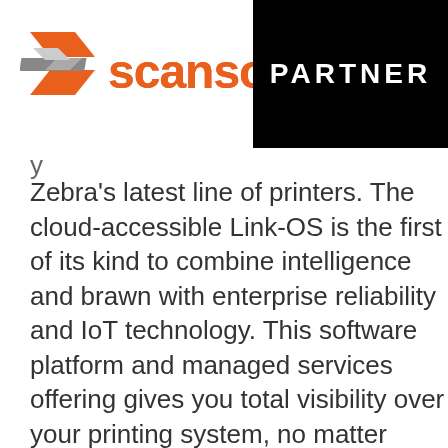[Figure (logo): ScanSource logo with orange/grey geometric S icon and orange 'scansource' wordmark with overline accent]
[Figure (logo): Black rectangle with white bold text 'PARTNER']
Zebra's latest line of printers. The cloud-accessible Link-OS is the first of its kind to combine intelligence and brawn with enterprise reliability and IoT technology. This software platform and managed services offering gives you total visibility over your printing system, no matter where you are physically located.